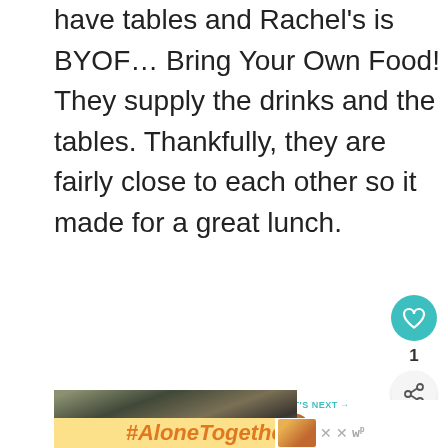have tables and Rachel's is BYOF… Bring Your Own Food! They supply the drinks and the tables. Thankfully, they are fairly close to each other so it made for a great lunch.
[Figure (screenshot): Like/heart button (teal circle with heart icon), count label '1', and share button below]
[Figure (screenshot): What's Next panel with food image and title 'Eggs Hussarde...']
[Figure (photo): Partial photo of person in a restaurant/kitchen setting]
#AloneTogether
[Figure (screenshot): Advertisement with woman eating, close buttons and logo]